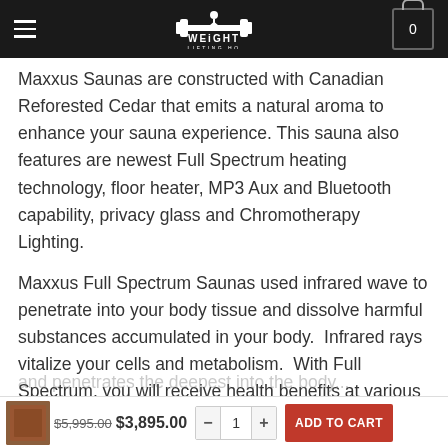Weight Lifting HQ — Navigation header with logo and cart
Maxxus Saunas are constructed with Canadian Reforested Cedar that emits a natural aroma to enhance your sauna experience. This sauna also features are newest Full Spectrum heating technology, floor heater, MP3 Aux and Bluetooth capability, privacy glass and Chromotherapy Lighting.
Maxxus Full Spectrum Saunas used infrared wave to penetrate into your body tissue and dissolve harmful substances accumulated in your body. Infrared rays vitalize your cells and metabolism. With Full Spectrum, you will receive health benefits at various levels of Infrared – NEAR, MID and FAR. FAR Infrared penetrates the deepest into the tissue to break down toxins while NEAR generates the most heat to your body. FAR Infrared has the longest wavelength
$5,995.00  $3,895.00  - 1 +  ADD TO CART